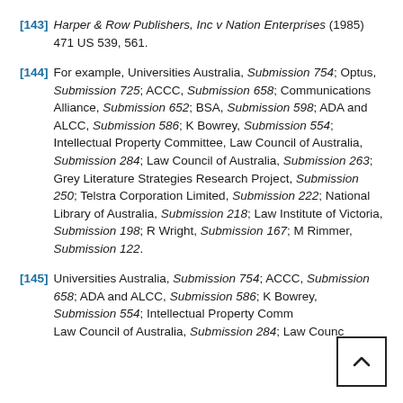[143] Harper & Row Publishers, Inc v Nation Enterprises (1985) 471 US 539, 561.
[144] For example, Universities Australia, Submission 754; Optus, Submission 725; ACCC, Submission 658; Communications Alliance, Submission 652; BSA, Submission 598; ADA and ALCC, Submission 586; K Bowrey, Submission 554; Intellectual Property Committee, Law Council of Australia, Submission 284; Law Council of Australia, Submission 263; Grey Literature Strategies Research Project, Submission 250; Telstra Corporation Limited, Submission 222; National Library of Australia, Submission 218; Law Institute of Victoria, Submission 198; R Wright, Submission 167; M Rimmer, Submission 122.
[145] Universities Australia, Submission 754; ACCC, Submission 658; ADA and ALCC, Submission 586; K Bowrey, Submission 554; Intellectual Property Committee, Law Council of Australia, Submission 284; Law Council of Australia, Submission 263; ...